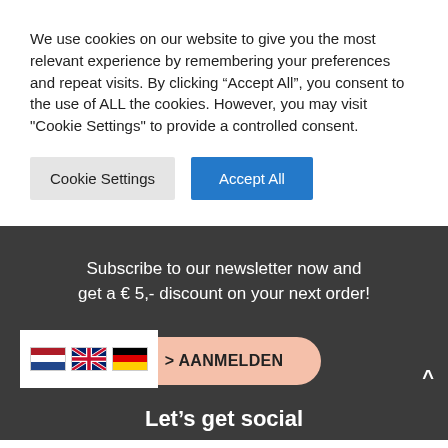We use cookies on our website to give you the most relevant experience by remembering your preferences and repeat visits. By clicking “Accept All”, you consent to the use of ALL the cookies. However, you may visit "Cookie Settings" to provide a controlled consent.
Cookie Settings
Accept All
Subscribe to our newsletter now and get a € 5,- discount on your next order!
> AANMELDEN
[Figure (illustration): Three country flags: Netherlands (red/white/blue horizontal stripes), United Kingdom (Union Jack), Germany (black/red/gold horizontal stripes)]
Let’s get social